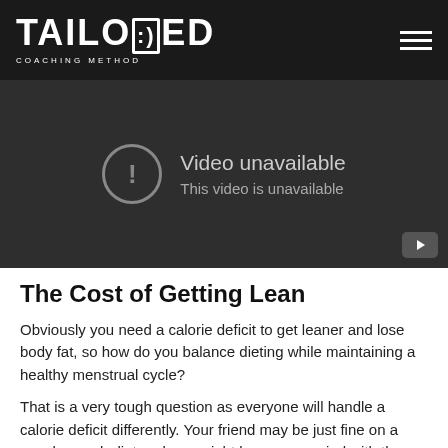TAILORED COACHING METHOD
[Figure (screenshot): Embedded video player showing 'Video unavailable – This video is unavailable' message on a dark background with YouTube icon]
The Cost of Getting Lean
Obviously you need a calorie deficit to get leaner and lose body fat, so how do you balance dieting while maintaining a healthy menstrual cycle?
That is a very tough question as everyone will handle a calorie deficit differently. Your friend may be just fine on a very low carb diet and you might lose your period with the